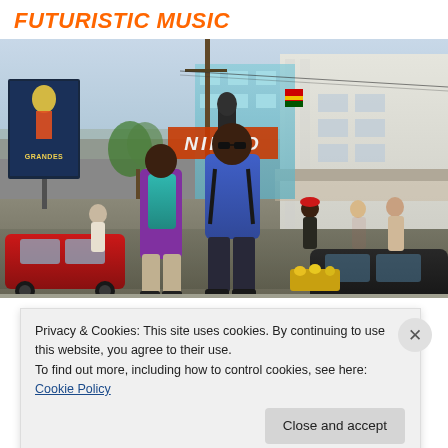FUTURISTIC MUSIC
[Figure (photo): Street scene photo showing a man in a blue t-shirt wearing sunglasses and carrying a guitar on his back, walking on a busy African city street with another person in a purple shirt with a teal backpack, vehicles, a billboard, and storefronts including a sign reading NIROO in the background.]
Privacy & Cookies: This site uses cookies. By continuing to use this website, you agree to their use.
To find out more, including how to control cookies, see here: Cookie Policy
Close and accept